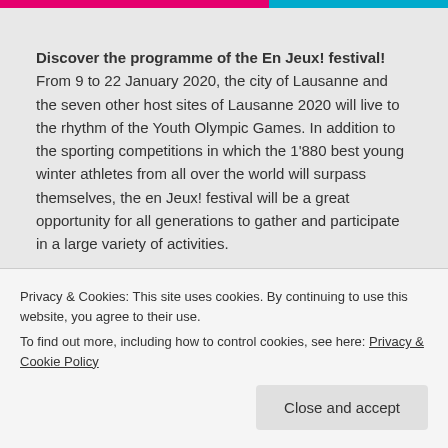[Figure (other): Top decorative bar with pink (left ~60%) and blue (right ~40%) segments]
Discover the programme of the En Jeux! festival! From 9 to 22 January 2020, the city of Lausanne and the seven other host sites of Lausanne 2020 will live to the rhythm of the Youth Olympic Games. In addition to the sporting competitions in which the 1'880 best young winter athletes from all over the world will surpass themselves, the en Jeux! festival will be a great opportunity for all generations to gather and participate in a large variety of activities.
Privacy & Cookies: This site uses cookies. By continuing to use this website, you agree to their use.
To find out more, including how to control cookies, see here: Privacy & Cookie Policy